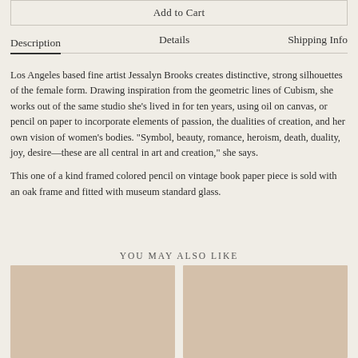Add to Cart
Description
Details
Shipping Info
Los Angeles based fine artist Jessalyn Brooks creates distinctive, strong silhouettes of the female form. Drawing inspiration from the geometric lines of Cubism, she works out of the same studio she's lived in for ten years, using oil on canvas, or pencil on paper to incorporate elements of passion, the dualities of creation, and her own vision of women's bodies. "Symbol, beauty, romance, heroism, death, duality, joy, desire—these are all central in art and creation," she says.
This one of a kind framed colored pencil on vintage book paper piece is sold with an oak frame and fitted with museum standard glass.
YOU MAY ALSO LIKE
[Figure (photo): Product thumbnail image placeholder - beige/tan colored image]
[Figure (photo): Product thumbnail image placeholder - beige/tan colored image]